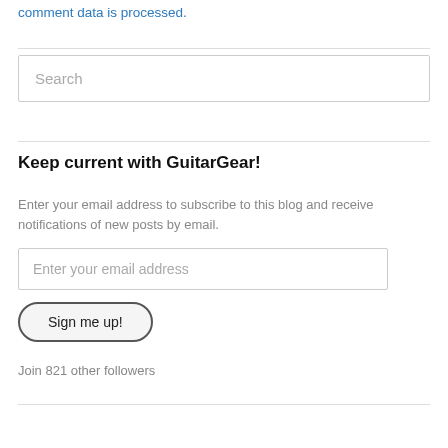comment data is processed.
Search
Keep current with GuitarGear!
Enter your email address to subscribe to this blog and receive notifications of new posts by email.
Enter your email address
Sign me up!
Join 821 other followers